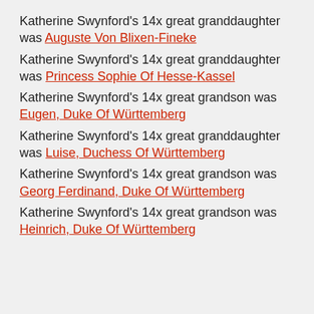Katherine Swynford's 14x great granddaughter was Auguste Von Blixen-Fineke
Katherine Swynford's 14x great granddaughter was Princess Sophie Of Hesse-Kassel
Katherine Swynford's 14x great grandson was Eugen, Duke Of Württemberg
Katherine Swynford's 14x great granddaughter was Luise, Duchess Of Württemberg
Katherine Swynford's 14x great grandson was Georg Ferdinand, Duke Of Württemberg
Katherine Swynford's 14x great grandson was Heinrich, Duke Of Württemberg